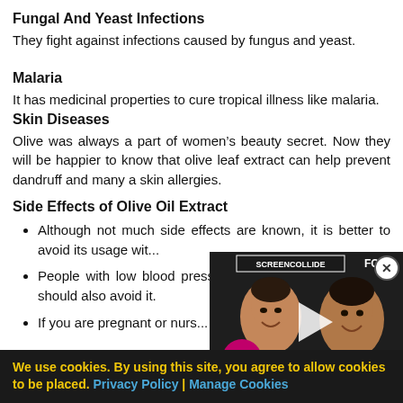Fungal And Yeast Infections
They fight against infections caused by fungus and yeast.
Malaria
It has medicinal properties to cure tropical illness like malaria.
Skin Diseases
Olive was always a part of women’s beauty secret. Now they will be happier to know that olive leaf extract can help prevent dandruff and many a skin allergies.
Side Effects of Olive Oil Extract
Although not much side effects are known, it is better to avoid its usage wit...
People with low blood pressure or low blood sugar level should also avoid it.
If you are pregnant or nursing...
[Figure (photo): Video overlay showing two men smiling, with a Mojo badge and play button, overlaid on article content]
We use cookies. By using this site, you agree to allow cookies to be placed. Privacy Policy | Manage Cookies